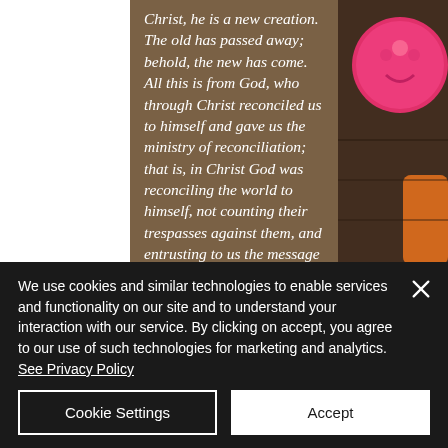[Figure (photo): Website screenshot showing a biblical quote in italic white text on a brown/tan background panel, with a photo of colorful decorative items (pink smiley face, orange/brown objects) visible on the right side, and a white margin on the left.]
Christ, he is a new creation. The old has passed away; behold, the new has come. All this is from God, who through Christ reconciled us to himself and gave us the ministry of reconciliation; that is, in Christ God was reconciling the world to himself, not counting their trespasses against them, and entrusting to us the message of reconciliation. Therefore, we are ambassadors for Christ, God making his appeal through us. We
We use cookies and similar technologies to enable services and functionality on our site and to understand your interaction with our service. By clicking on accept, you agree to our use of such technologies for marketing and analytics. See Privacy Policy
Cookie Settings
Accept